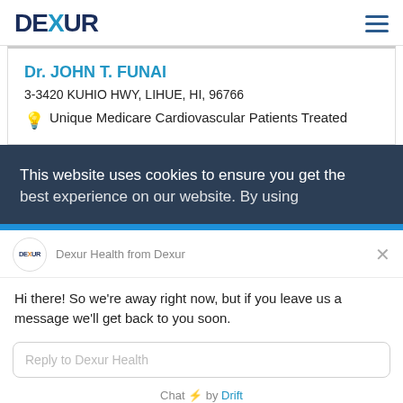DEXUR
Dr. JOHN T. FUNAI
3-3420 KUHIO HWY, LIHUE, HI, 96766
Unique Medicare Cardiovascular Patients Treated
This website uses cookies to ensure you get the best experience on our website. By using
Dexur Health from Dexur
Hi there! So we're away right now, but if you leave us a message we'll get back to you soon.
Reply to Dexur Health
Chat ⚡ by Drift